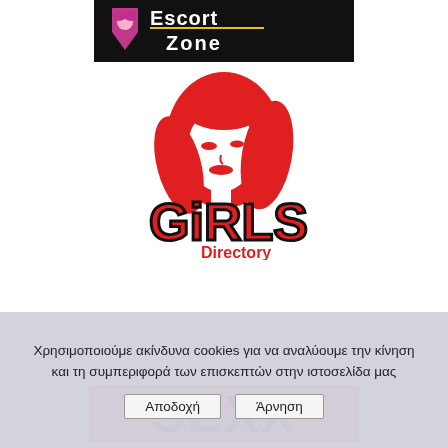[Figure (logo): Escort Zone logo — dark background banner with pink female face icon and 'Escort Zone' text in stylized font]
[Figure (logo): Girls Directory logo — red silhouette of a woman's face with flowing hair above bold red outlined text 'GiRLS' and red text 'Directory']
[Figure (logo): SEXX banner — coral/red background with large bold black text 'SEXX']
Χρησιμοποιούμε ακίνδυνα cookies για να αναλύουμε την κίνηση και τη συμπεριφορά των επισκεπτών στην ιστοσελίδα μας
Αποδοχή   Άρνηση